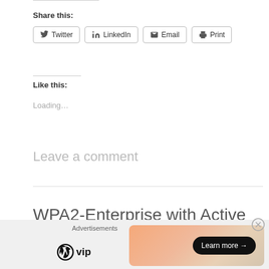Share this:
[Figure (screenshot): Share buttons: Twitter, LinkedIn, Email, Print]
Like this:
Loading...
Leave a comment
WPA2-Enterprise with Active Directory and PEAP-EAP-TLS
[Figure (infographic): Advertisement bar with WordPress VIP logo and a Learn more button on a gradient banner]